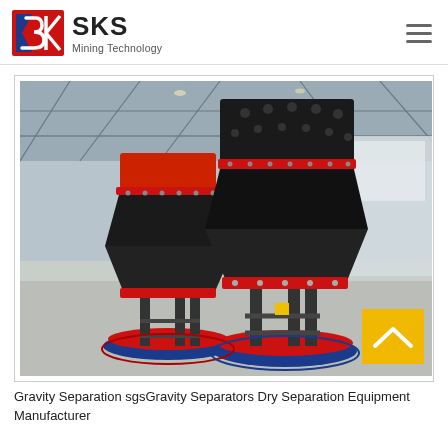[Figure (logo): SKS Mining Technology company logo with red and blue geometric S icon and company name]
[Figure (photo): Industrial factory floor showing two large cone crusher machines with red and black coloring, mounted on circular blue and red platforms inside a large steel-framed warehouse]
Gravity Separation sgsGravity Separators Dry Separation Equipment Manufacturer